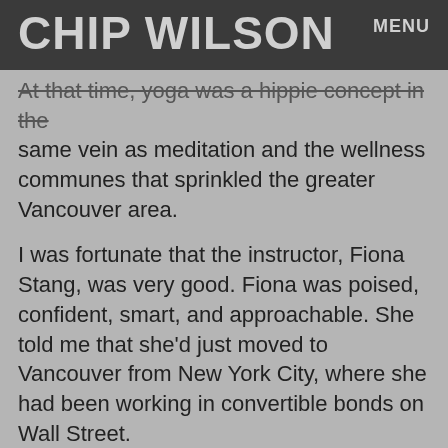CHIP WILSON
At that time, yoga was a hippie concept in the same vein as meditation and the wellness communes that sprinkled the greater Vancouver area.
I was fortunate that the instructor, Fiona Stang, was very good. Fiona was poised, confident, smart, and approachable. She told me that she'd just moved to Vancouver from New York City, where she had been working in convertible bonds on Wall Street.
“I wanted the ocean and the mountains,” Fiona told me. “My husband and I chose Vancouver, and here I am in this beautiful city teaching yoga. It’s